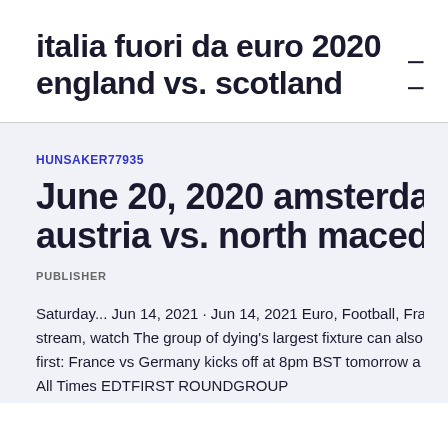italia fuori da euro 2020 england vs. scotland
HUNSAKER77935
June 20, 2020 amsterdam euro austria vs. north macedonia
PUBLISHER
Saturday... Jun 14, 2021 · Jun 14, 2021 Euro, Football, France stream, watch The group of dying's largest fixture can also first: France vs Germany kicks off at 8pm BST tomorrow a All Times EDTFIRST ROUNDGROUP